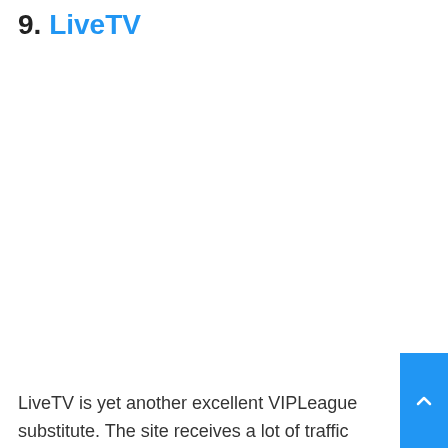9. LiveTV
[Figure (other): Screenshot or image placeholder for LiveTV website]
LiveTV is yet another excellent VIPLeague substitute. The site receives a lot of traffic since live streaming is available in a variety of languages. LiveTV is extremely